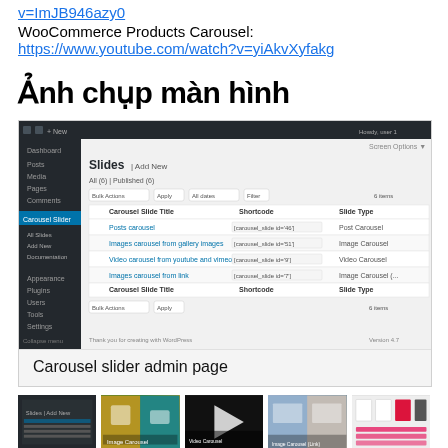v=ImJB946azy0
WooCommerce Products Carousel:
https://www.youtube.com/watch?v=yiAkvXyfakg
Ảnh chụp màn hình
[Figure (screenshot): Carousel slider admin page screenshot showing WordPress admin panel with Slides list view]
Carousel slider admin page
[Figure (screenshot): Row of five thumbnail screenshots showing various carousel slide types]
Block